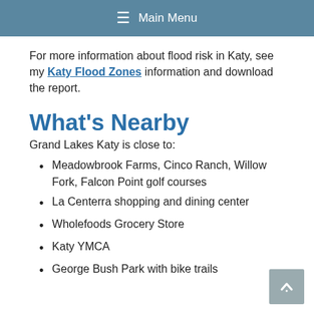≡ Main Menu
For more information about flood risk in Katy, see my Katy Flood Zones information and download the report.
What's Nearby
Grand Lakes Katy is close to:
Meadowbrook Farms, Cinco Ranch, Willow Fork, Falcon Point golf courses
La Centerra shopping and dining center
Wholefoods Grocery Store
Katy YMCA
George Bush Park with bike trails